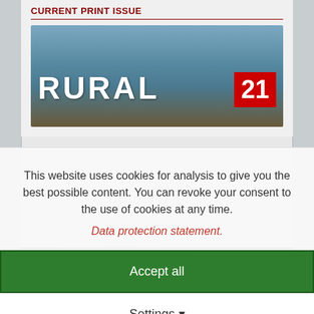CURRENT PRINT ISSUE
[Figure (photo): Magazine cover of Rural 21 with green/nature background, large white text 'RURAL' and red badge with number '21']
This website uses cookies for analysis to give you the best possible content. You can revoke your consent to the use of cookies at any time.
Data protection statement.
Accept all
Settings ▾
[Figure (photo): Dark nature/forest background image with text 'Healthy planet' in light italic font]